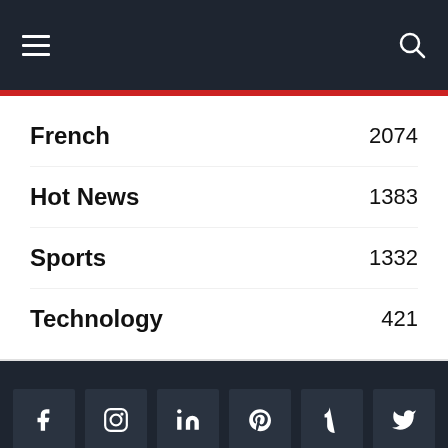Navigation bar with hamburger menu and search icon
French 2074
Hot News 1383
Sports 1332
Technology 421
[Figure (other): Social media icon buttons: Facebook, Instagram, LinkedIn, Pinterest, Tumblr, Twitter]
Home Hot News World Europe French Sports Business Tech